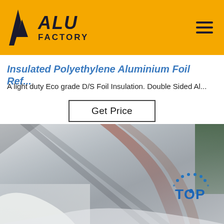ALU FACTORY
Insulated Polyethylene Aluminium Foil Ref...
A light duty Eco grade D/S Foil Insulation. Double Sided Al...
Get Price
[Figure (photo): Close-up photo of aluminium foil/sheet material showing metallic reflective surface with grey and silver tones, with a 'TOP' badge watermark in the bottom right corner.]